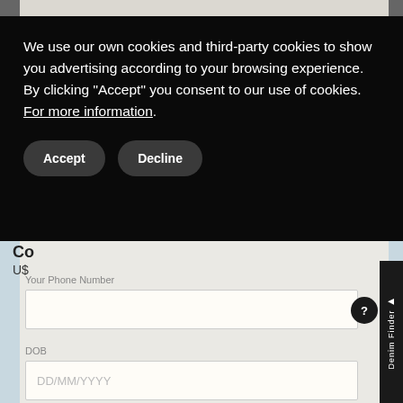[Figure (screenshot): Website background showing a form page with fields for phone number, DOB (DD/MM/YYYY), and Preference, with a Denim Finder sidebar tab on the right and a help button.]
We use our own cookies and third-party cookies to show you advertising according to your browsing experience. By clicking “Accept” you consent to our use of cookies. For more information.
Accept
Decline